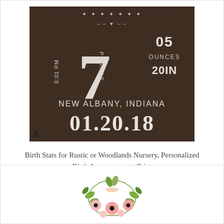[Figure (illustration): Rustic wooden sign birth announcement print showing birth stats: 8:01 PM, 7 POUNDS, 05 OUNCES, 20 IN, NEW ALBANY INDIANA, 01.20.18 with letter A label below]
Birth Stats for Rustic or Woodlands Nursery, Personalized Birth Announcement Print
from $17.00
[Figure (illustration): Floral wreath illustration with pink flowers and green leaves, partially visible at bottom of page]